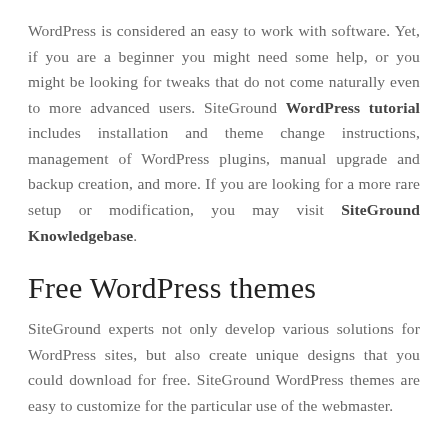WordPress is considered an easy to work with software. Yet, if you are a beginner you might need some help, or you might be looking for tweaks that do not come naturally even to more advanced users. SiteGround WordPress tutorial includes installation and theme change instructions, management of WordPress plugins, manual upgrade and backup creation, and more. If you are looking for a more rare setup or modification, you may visit SiteGround Knowledgebase.
Free WordPress themes
SiteGround experts not only develop various solutions for WordPress sites, but also create unique designs that you could download for free. SiteGround WordPress themes are easy to customize for the particular use of the webmaster.